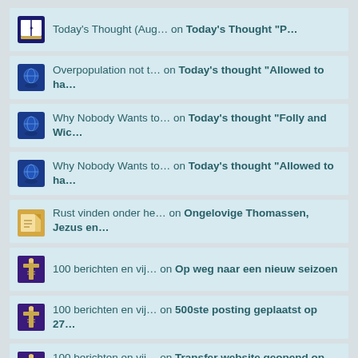Today's Thought (Aug… on Today's Thought "P…
Overpopulation not t… on Today's thought "Allowed to ha…
Why Nobody Wants to… on Today's thought "Folly and Wic…
Why Nobody Wants to… on Today's thought "Allowed to ha…
Rust vinden onder he… on Ongelovige Thomassen, Jezus en…
100 berichten en vij… on Op weg naar een nieuw seizoen
100 berichten en vij… on 500ste posting geplaatst op 27…
100 berichten en vij… on Transfer website geopend op Bl…
100 berichten en vij… on Nieuwe Dochter Site